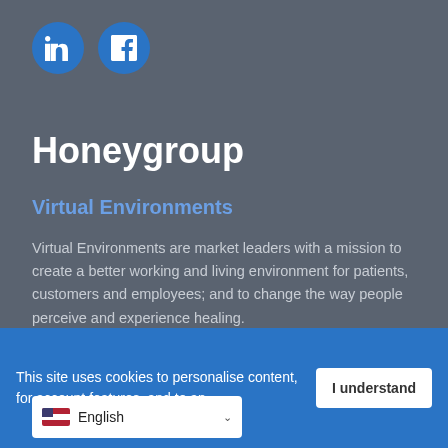[Figure (logo): LinkedIn and Facebook social media icon circles in blue]
Honeygroup
Virtual Environments
Virtual Environments are market leaders with a mission to create a better working and living environment for patients, customers and employees; and to change the way people perceive and experience healing.
Aqua Cooler
This site uses cookies to personalise content, for account features, and to an...
[Figure (screenshot): English language selector dropdown with US flag]